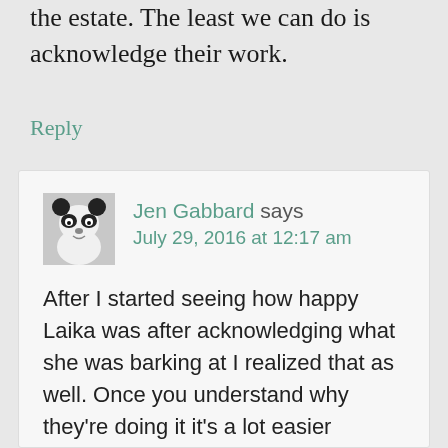the estate. The least we can do is acknowledge their work.
Reply
[Figure (photo): Black and white avatar photo of a panda]
Jen Gabbard says
July 29, 2016 at 12:17 am
After I started seeing how happy Laika was after acknowledging what she was barking at I realized that as well. Once you understand why they're doing it it's a lot easier to appreciate.